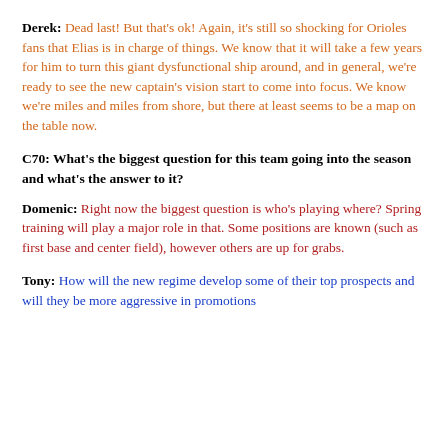Derek: Dead last! But that's ok! Again, it's still so shocking for Orioles fans that Elias is in charge of things. We know that it will take a few years for him to turn this giant dysfunctional ship around, and in general, we're ready to see the new captain's vision start to come into focus. We know we're miles and miles from shore, but there at least seems to be a map on the table now.
C70: What's the biggest question for this team going into the season and what's the answer to it?
Domenic: Right now the biggest question is who's playing where? Spring training will play a major role in that. Some positions are known (such as first base and center field), however others are up for grabs.
Tony: How will the new regime develop some of their top prospects and will they be more aggressive in promotions